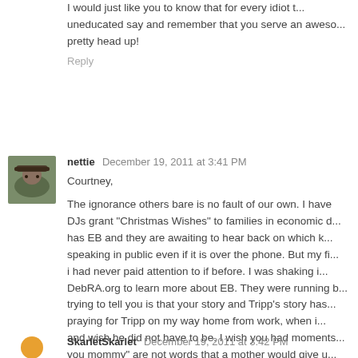I would just like you to know that for every idiot that has an uneducated say and remember that you serve an awesome God. Keep your pretty head up!
Reply
nettie  December 19, 2011 at 3:41 PM
Courtney,
The ignorance others bare is no fault of our own. I have seen the DJs grant "Christmas Wishes" to families in economic distress. She has EB and they are awaiting to hear back on which kid... speaking in public even if it is over the phone. But my fi... i had never paid attention to if before. I was shaking i... DebRA.org to learn more about EB. They were running b... trying to tell you is that your story and Tripp's story has... praying for Tripp on my way home from work, when i... and wish he did not have to be. I wish you had moments... you mommy" are not words that a mother would give u... hurtful comments. You are a GREAT mother!
Reply
SkarletSkarlet  December 19, 2011 at 3:42 PM